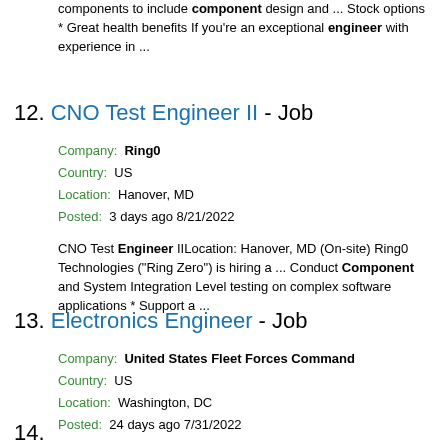components to include component design and ... Stock options * Great health benefits If you're an exceptional engineer with experience in ...
12. CNO Test Engineer II - Job
Company: Ring0
Country: US
Location: Hanover, MD
Posted: 3 days ago 8/21/2022
CNO Test Engineer IILocation: Hanover, MD (On-site) Ring0 Technologies ("Ring Zero") is hiring a ... Conduct Component and System Integration Level testing on complex software applications * Support a ...
13. Electronics Engineer - Job
Company: United States Fleet Forces Command
Country: US
Location: Washington, DC
Posted: 24 days ago 7/31/2022
Job family (Series) 0855 Electronics Engineering * Supervisory status No * Drug test Yes * Position sensitivity and risk Critical-Sensitive (CS)/High Risk * Trust determination process Credentialing
14. ...